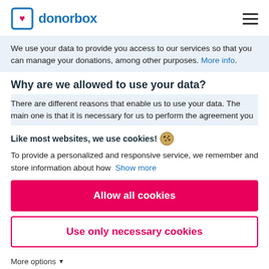donorbox
We use your data to provide you access to our services so that you can manage your donations, among other purposes. More info.
Why are we allowed to use your data?
There are different reasons that enable us to use your data. The main one is that it is necessary for us to perform the agreement you
Like most websites, we use cookies! 🍪
To provide a personalized and responsive service, we remember and store information about how  Show more
Allow all cookies
Use only necessary cookies
More options ▾